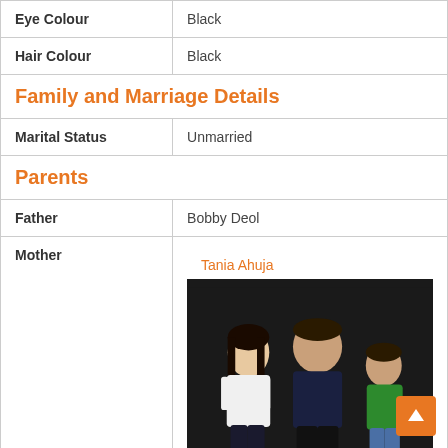| Label | Value |
| --- | --- |
| Eye Colour | Black |
| Hair Colour | Black |
| Family and Marriage Details |  |
| Marital Status | Unmarried |
| Parents |  |
| Father | Bobby Deol |
| Mother | Tania Ahuja |